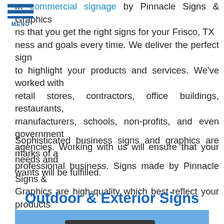[Figure (other): Hamburger menu icon with three horizontal blue bars and MENU label below]
commercial signage by Pinnacle Signs & Graphics ensures that you get the right signs for your Frisco, TX business and goals every time. We deliver the perfect sign to highlight your products and services. We've worked with retail stores, contractors, office buildings, restaurants, manufacturers, schools, non-profits, and even government agencies. Working with us will ensure that your needs and wants will be fulfilled.
Sophisticated business signs and graphics are marks of a professional business. Signs made by Pinnacle Signs & Graphics are high-quality which best reflect your products and services.
Outdoor & Exterior Signs
[Figure (photo): Photo of a Sinclair gas station sign against a blue sky, with phone and email contact buttons overlaid in the bottom right corner]